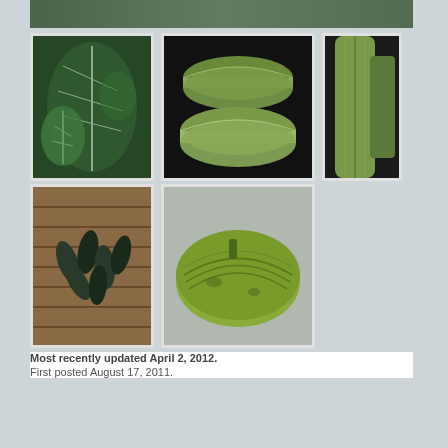[Figure (photo): Top banner image partially cut off - appears to show plant/vegetable]
[Figure (photo): Green leaves plant photo thumbnail]
[Figure (photo): Two sliced green vegetables on dark background thumbnail]
[Figure (photo): Partial green plant/vegetable stem on dark background, cropped at right edge]
[Figure (photo): Dark green seed pods on woven mat thumbnail]
[Figure (photo): Green ridged vegetable on gray background thumbnail]
Most recently updated April 2, 2012.
First posted August 17, 2011.